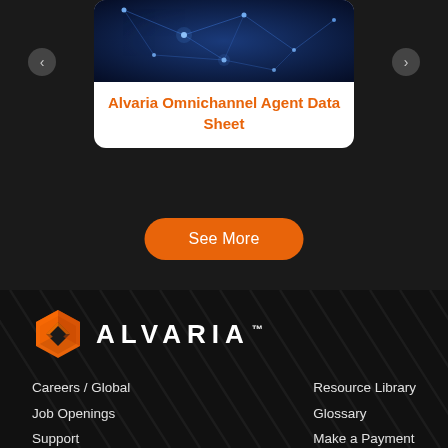[Figure (screenshot): Network/technology image with blue glowing nodes and connections on dark background]
Alvaria Omnichannel Agent Data Sheet
See More
[Figure (logo): Alvaria logo with orange hexagon icon and white ALVARIA™ wordmark]
Careers / Global
Job Openings
Support
Events
Resource Library
Glossary
Make a Payment
Contact Us